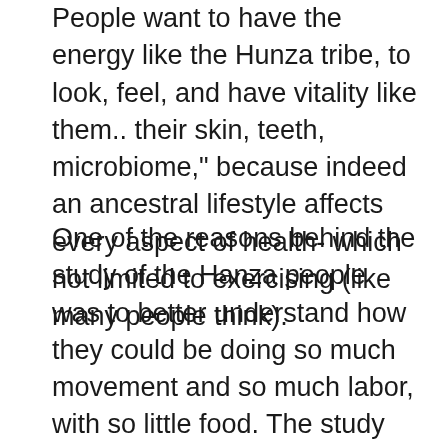People want to have the energy like the Hunza tribe, to look, feel, and have vitality like them.. their skin, teeth, microbiome," because indeed an ancestral lifestyle affects every aspect of health- which not limited to exercising (like many people think).
One of the reasons behind the study of the Hanza people was to better understand how they could be doing so much movement and so much labor, with so little food. The study demonstrated that in fact, despite moving so much, they were not burning that many calories. We've been told that exercise is the key to leaner bodies, but it didn't matter that they were exercising all day: their caloric output was essentially the same; as Dan puts it: “the takeaway is, holy cow, exercise really doesn't have much to do with weight loss." Exercise the cherry on the top, meaning that it has